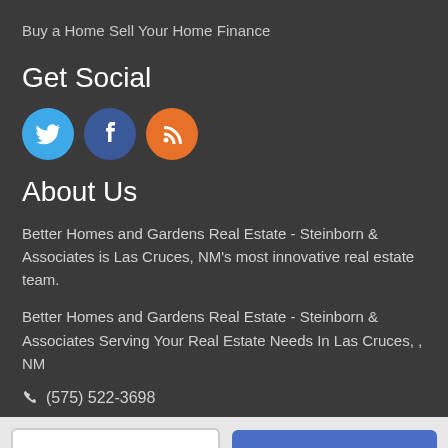Buy a Home
Sell Your Home
Finance
Get Social
[Figure (illustration): Three social media icon circles: Twitter (blue), Facebook (dark blue), RSS (orange)]
About Us
Better Homes and Gardens Real Estate - Steinborn & Associates is Las Cruces, NM's most innovative real estate team.
Better Homes and Gardens Real Estate - Steinborn & Associates Serving Your Real Estate Needs In Las Cruces, , NM
✆ (575) 522-3698
Take a Tour
Ask A Question
research for commercial use. May not be used for any